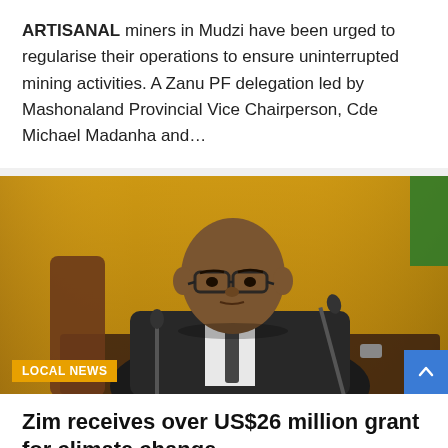ARTISANAL miners in Mudzi have been urged to regularise their operations to ensure uninterrupted mining activities. A Zanu PF delegation led by Mashonaland Provincial Vice Chairperson, Cde Michael Madanha and…
[Figure (photo): A man in a dark suit with glasses sitting at a table with microphones, in front of a gold/yellow curtain background. A 'LOCAL NEWS' badge appears at the bottom left of the image.]
Zim receives over US$26 million grant for climate change
By ZBC Reporter THE Ministry of Environment, Climate,